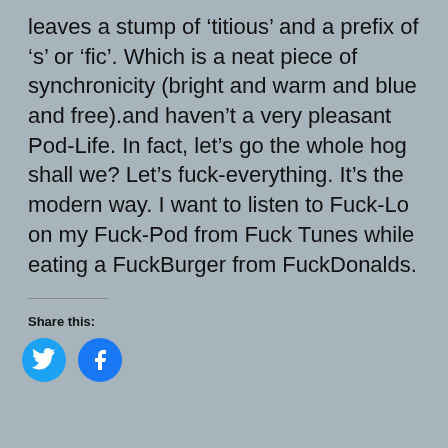leaves a stump of 'titious' and a prefix of 's' or 'fic'. Which is a neat piece of synchronicity (bright and warm and blue and free).and haven't a very pleasant Pod-Life. In fact, let's go the whole hog shall we? Let's fuck-everything. It's the modern way. I want to listen to Fuck-Lo on my Fuck-Pod from Fuck Tunes while eating a FuckBurger from FuckDonalds.
Share this:
[Figure (other): Twitter and Facebook social share icon buttons (circular blue icons)]